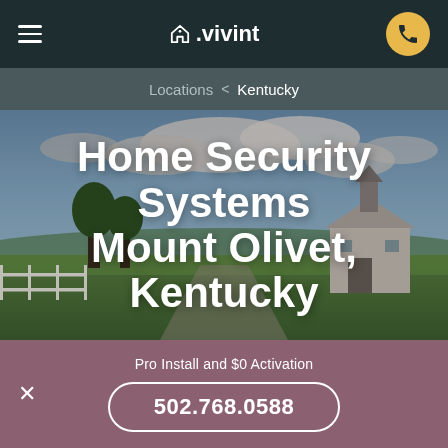△.vivint
Locations < Kentucky
Home Security Systems Mount Olivet, Kentucky
[Figure (photo): Outdoor rural Kentucky landscape with green fields, trees, white fence, a barn with a steeple, and cloudy blue sky]
Pro Install and $0 Activation
502.768.0588